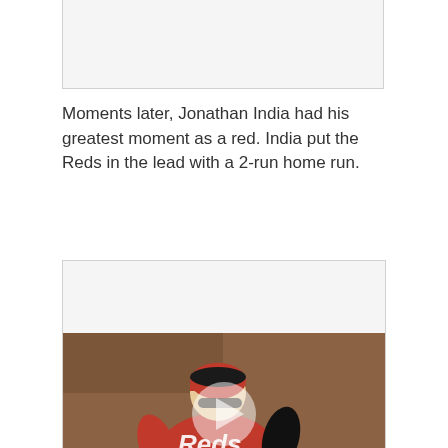[Figure (other): Partial image placeholder at the top of the page]
Moments later, Jonathan India had his greatest moment as a red. India put the Reds in the lead with a 2-run home run.
[Figure (photo): Video thumbnail showing Jonathan India in a Cincinnati Reds red uniform with number 6, running the bases, with a play button overlay]